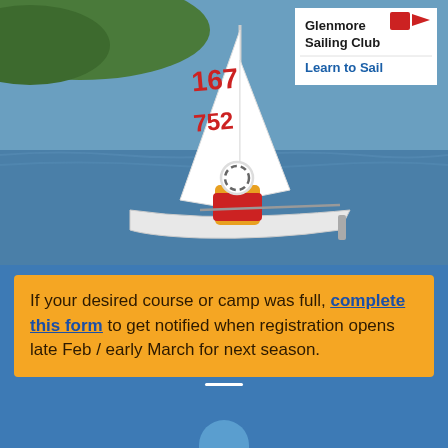[Figure (photo): Photo of a person sailing a dinghy sailboat (number 167521) on a lake with green hills in the background. The sailor wears a yellow jacket and red life vest. A Glenmore Sailing Club logo with 'Learn to Sail' text appears in the top right corner of the photo.]
If your desired course or camp was full, complete this form to get notified when registration opens late Feb / early March for next season.
[Figure (other): Hamburger menu icon (three horizontal white lines) and a partial circle shape at the bottom, on a blue background.]